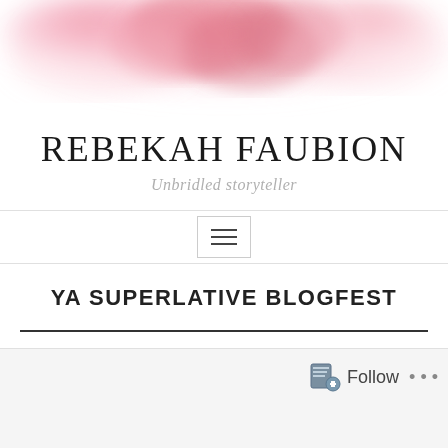[Figure (illustration): Pink watercolor flower/splash illustration at top of page]
REBEKAH FAUBION
Unbridled storyteller
[Figure (other): Navigation hamburger menu icon (three horizontal lines) inside a box]
YA SUPERLATIVE BLOGFEST
[Figure (other): Follow widget with icon and 'Follow' text at bottom right, with ellipsis dots]